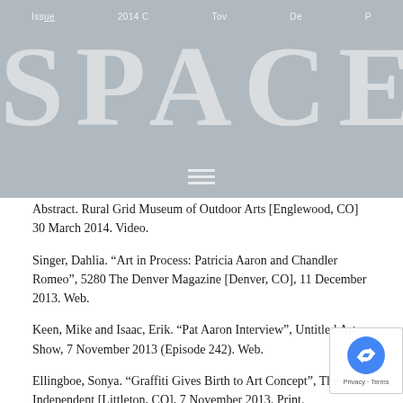SPACE — Issue | 2014 | Cov | Tow | De | P
Abstract. Rural Grid Museum of Outdoor Arts [Englewood, CO] 30 March 2014. Video.
Singer, Dahlia. “Art in Process: Patricia Aaron and Chandler Romeo”, 5280 The Denver Magazine [Denver, CO], 11 December 2013. Web.
Keen, Mike and Isaac, Erik. “Pat Aaron Interview”, Untitled Art Show, 7 November 2013 (Episode 242). Web.
Ellingboe, Sonya. “Graffiti Gives Birth to Art Concept”, The Independent [Littleton, CO], 7 November 2013. Print.
Ellingboe, Sonya. “Graffiti Gives Birth to Art Concept”, Highlands Ranch Herald [Highlands Ranch, CO], 7 November 2013. P…
Paglia, Michael. “Four abstract shows consider Mind over Matter…